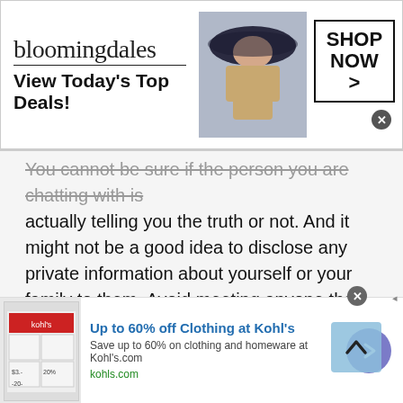[Figure (screenshot): Bloomingdales advertisement banner: logo text 'bloomingdales', tagline 'View Today's Top Deals!', image of woman in hat, SHOP NOW button]
You cannot be sure if the person you are chatting with is actually telling you the truth or not. And it might not be a good idea to disclose any private information about yourself or your family to them. Avoid meeting anyone that you met online unless you are sure they are trustworthy.
Do not Be Fooled with Links
Most people make the mistake of clicking a suspicious link that someone might have given to you. also learn to avoid opening any emails, or ads that you have received from
[Figure (screenshot): Kohl's advertisement: Up to 60% off Clothing at Kohl's. Save up to 60% on clothing and homeware at Kohls.com. kohls.com]